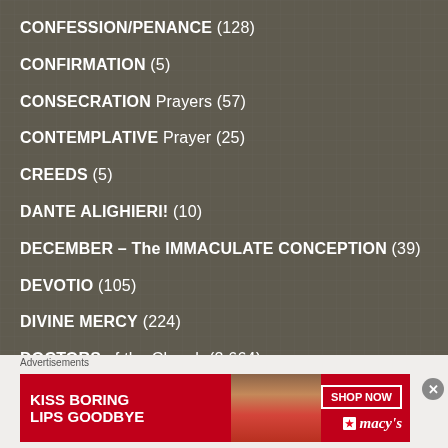CONFESSION/PENANCE (128)
CONFIRMATION (5)
CONSECRATION Prayers (57)
CONTEMPLATIVE Prayer (25)
CREEDS (5)
DANTE ALIGHIERI! (10)
DECEMBER – The IMMACULATE CONCEPTION (39)
DEVOTIO (105)
DIVINE MERCY (224)
DOCTORS of the Church (2,664)
DOCTRINE (16)
[Figure (photo): Advertisement banner: red background with 'KISS BORING LIPS GOODBYE' text, woman's face with red lips, 'SHOP NOW' button, Macy's logo with star]